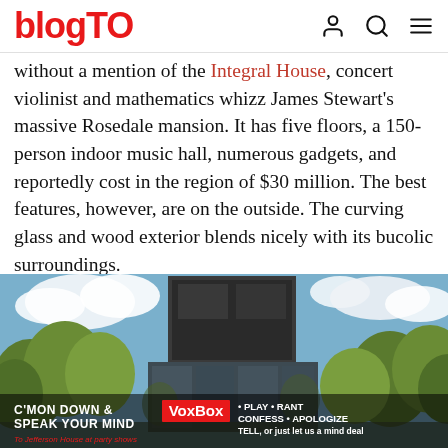blogTO
without a mention of the Integral House, concert violinist and mathematics whizz James Stewart's massive Rosedale mansion. It has five floors, a 150-person indoor music hall, numerous gadgets, and reportedly cost in the region of $30 million. The best features, however, are on the outside. The curving glass and wood exterior blends nicely with its bucolic surroundings.
[Figure (photo): Exterior photograph of the Integral House showing a modern building with dark glass and wood panels surrounded by green trees against a blue sky with clouds. An advertisement overlay at the bottom reads C'MON DOWN & SPEAK YOUR MIND VoxBox with additional text.]